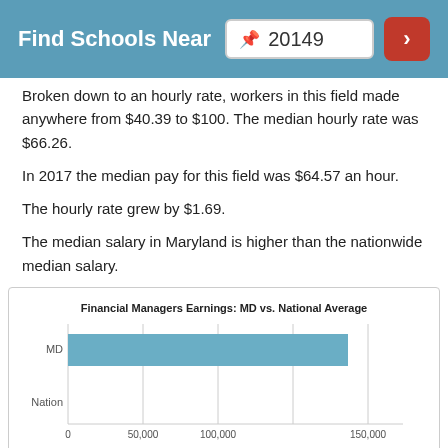Find Schools Near 20149
Broken down to an hourly rate, workers in this field made anywhere from $40.39 to $100. The median hourly rate was $66.26.
In 2017 the median pay for this field was $64.57 an hour.
The hourly rate grew by $1.69.
The median salary in Maryland is higher than the nationwide median salary.
[Figure (bar-chart): Financial Managers Earnings: MD vs. National Average]